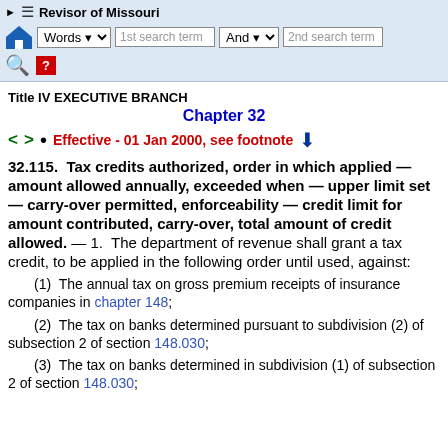Revisor of Missouri
Title IV EXECUTIVE BRANCH
Chapter 32
Effective - 01 Jan 2000, see footnote
32.115. Tax credits authorized, order in which applied — amount allowed annually, exceeded when — upper limit set — carry-over permitted, enforceability — credit limit for amount contributed, carry-over, total amount of credit allowed. — 1. The department of revenue shall grant a tax credit, to be applied in the following order until used, against:
(1) The annual tax on gross premium receipts of insurance companies in chapter 148;
(2) The tax on banks determined pursuant to subdivision (2) of subsection 2 of section 148.030;
(3) The tax on banks determined in subdivision (1) of subsection 2 of section 148.030;